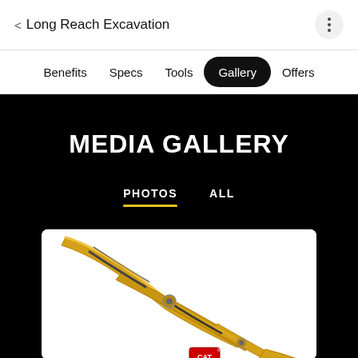< Long Reach Excavation
Benefits   Specs   Tools   Gallery   Offers
MEDIA GALLERY
PHOTOS   ALL
[Figure (photo): Yellow CAT long reach excavator arm shown against white background, partial view cropped at bottom edge of card.]